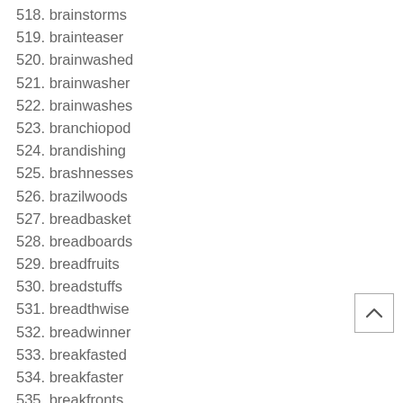518. brainstorms
519. brainteaser
520. brainwashed
521. brainwasher
522. brainwashes
523. branchiopod
524. brandishing
525. brashnesses
526. brazilwoods
527. breadbasket
528. breadboards
529. breadfruits
530. breadstuffs
531. breadthwise
532. breadwinner
533. breakfasted
534. breakfaster
535. breakfronts
536. breakwaters
537. breastbones
538. breastfoods